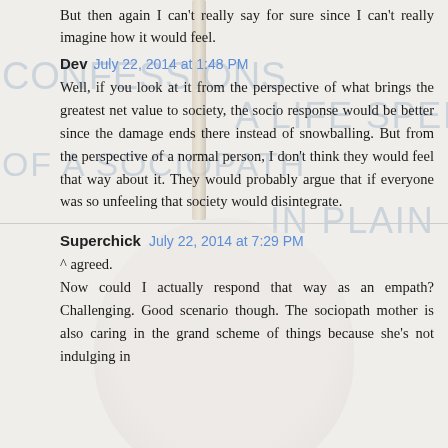But then again I can't really say for sure since I can't really imagine how it would feel.
Dev July 22, 2014 at 1:48 PM
Well, if you look at it from the perspective of what brings the greatest net value to society, the socio response would be better since the damage ends there instead of snowballing. But from the perspective of a normal person, I don't think they would feel that way about it. They would probably argue that if everyone was so unfeeling that society would disintegrate.
Superchick July 22, 2014 at 7:29 PM
^ agreed.
Now could I actually respond that way as an empath? Challenging. Good scenario though. The sociopath mother is also caring in the grand scheme of things because she's not indulging in